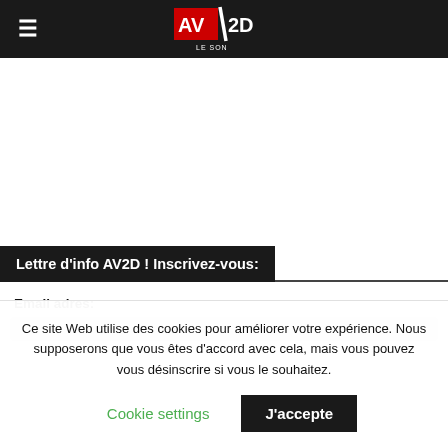AV2D LE SON
Lettre d'info AV2D ! Inscrivez-vous:
Email adres:
Ce site Web utilise des cookies pour améliorer votre expérience. Nous supposerons que vous êtes d'accord avec cela, mais vous pouvez vous désinscrire si vous le souhaitez.
Cookie settings
J'accepte